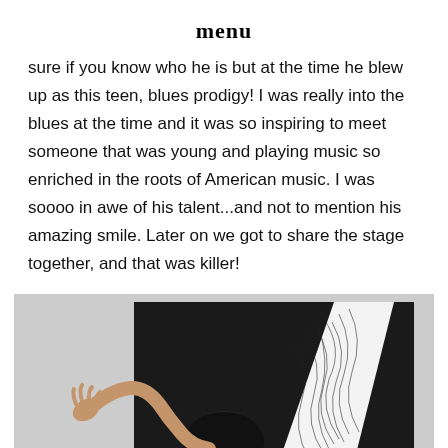menu
sure if you know who he is but at the time he blew up as this teen, blues prodigy!  I was really into the blues at the time and it was so inspiring to meet someone that was young and playing music so enriched in the roots of American music.  I was soooo in awe of his talent...and not to mention his amazing smile.  Later on we got to share the stage together, and that was killer!
[Figure (photo): Black and white artistic photograph of a woman with dark hair, posed against a large black rectangular backdrop with abstract white splatter/paint artwork. Her arm is raised to the left side.]